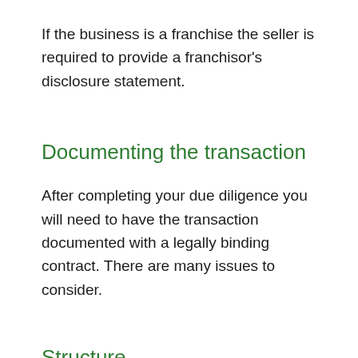If the business is a franchise the seller is required to provide a franchisor's disclosure statement.
Documenting the transaction
After completing your due diligence you will need to have the transaction documented with a legally binding contract. There are many issues to consider.
Structure
You will need to decide on the structure of the transaction. It is crucial to get advice on the legal, financial and taxation consequences of